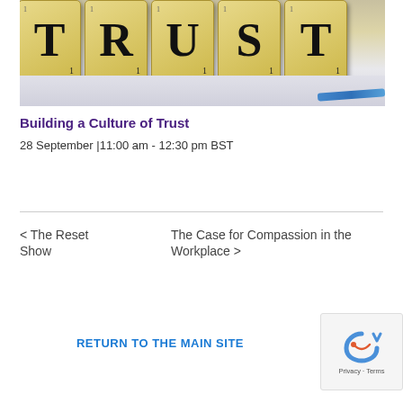[Figure (photo): Scrabble tiles spelling TRUST on a light wooden surface with a blue pen visible at the bottom right]
Building a Culture of Trust
28 September |11:00 am - 12:30 pm BST
< The Reset Show
The Case for Compassion in the Workplace >
RETURN TO THE MAIN SITE